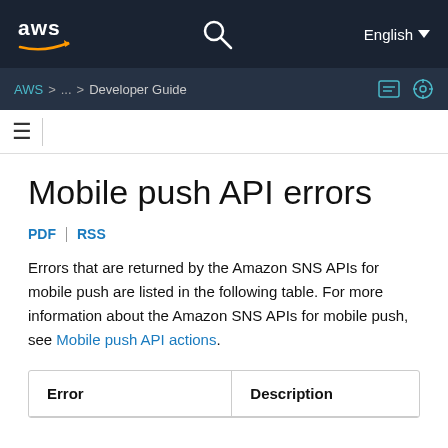aws  English
AWS > ... > Developer Guide
Mobile push API errors
PDF | RSS
Errors that are returned by the Amazon SNS APIs for mobile push are listed in the following table. For more information about the Amazon SNS APIs for mobile push, see Mobile push API actions.
| Error | Description |
| --- | --- |